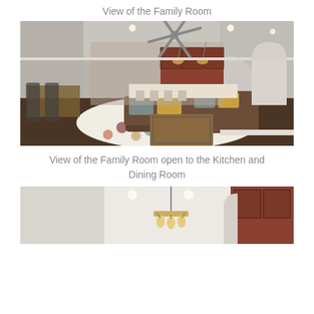View of the Family Room
[Figure (photo): Interior photo of a family room with dark leather sectional sofa, colorful polka dot rug, coffee table, ceiling fan, open to kitchen with cherry cabinets and dining area in background, arched doorways visible on the right]
View of the Family Room open to the Kitchen and Dining Room
[Figure (photo): Interior photo showing the top portion of a kitchen/dining area with white ceiling, recessed lighting, hanging chandelier, and cherry wood cabinetry visible at right edge]